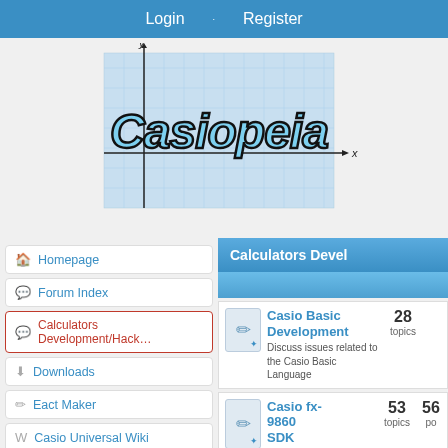Login · Register
[Figure (logo): Casiopeia website logo with graph paper background and stylized italic text]
Homepage
Forum Index
Calculators Development/Hack...
Downloads
Eact Maker
Casio Universal Wiki
FAQ
Calculators Devel
Casio Basic Development - Discuss issues related to the Casio Basic Language - 28 topics
Casio fx-9860 SDK - Discuss issues related to the fx-9860G Software - 53 topics - 56 posts